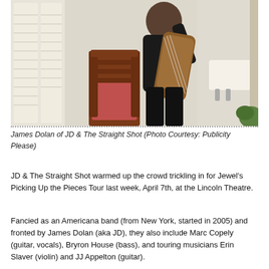[Figure (photo): A man dressed in black playing a guitar, standing in a room with a wooden chair with a red cushion, a sink, and shuttered windows.]
James Dolan of JD & The Straight Shot (Photo Courtesy: Publicity Please)
JD & The Straight Shot warmed up the crowd trickling in for Jewel's Picking Up the Pieces Tour last week, April 7th, at the Lincoln Theatre.
Fancied as an Americana band (from New York, started in 2005) and fronted by James Dolan (aka JD), they also include Marc Copely (guitar, vocals), Bryron House (bass), and touring musicians Erin Slaver (violin) and JJ Appelton (guitar).